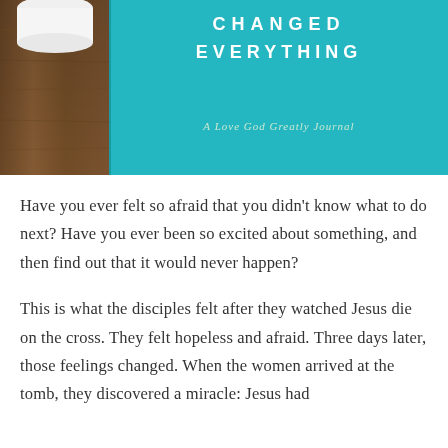[Figure (photo): Top portion of a book cover showing teal/turquoise background with white text reading 'CHANGED EVERYTHING' and italic subtitle 'A Love God Greatly Journal', with a wooden surface and partial white cup on the left side.]
Have you ever felt so afraid that you didn't know what to do next? Have you ever been so excited about something, and then find out that it would never happen?
This is what the disciples felt after they watched Jesus die on the cross. They felt hopeless and afraid. Three days later, those feelings changed. When the women arrived at the tomb, they discovered a miracle: Jesus had